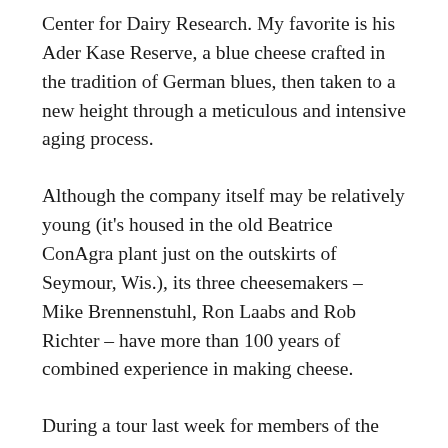Center for Dairy Research. My favorite is his Ader Kase Reserve, a blue cheese crafted in the tradition of German blues, then taken to a new height through a meticulous and intensive aging process.
Although the company itself may be relatively young (it's housed in the old Beatrice ConAgra plant just on the outskirts of Seymour, Wis.), its three cheesemakers – Mike Brennenstuhl, Ron Laabs and Rob Richter – have more than 100 years of combined experience in making cheese.
During a tour last week for members of the Wisconsin Specialty Cheese Institute, Quality Systems Manager Ron Roethlisberger – an aspiring cheesemaker himself – shared that last year, Seymour Dairy crafted 4.5 million pounds of blue cheese and is on track to produce 6 million pounds this year. All milk comes